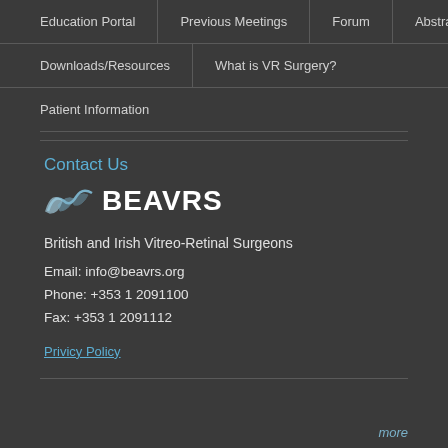Education Portal
Previous Meetings
Forum
Abstracts
Downloads/Resources
What is VR Surgery?
Patient Information
Contact Us
[Figure (logo): BEAVRS logo with wave/fish icon and bold text BEAVRS]
British and Irish Vitreo-Retinal Surgeons
Email: info@beavrs.org
Phone: +353 1 2091100
Fax: +353 1 2091112
Privicy Policy
more